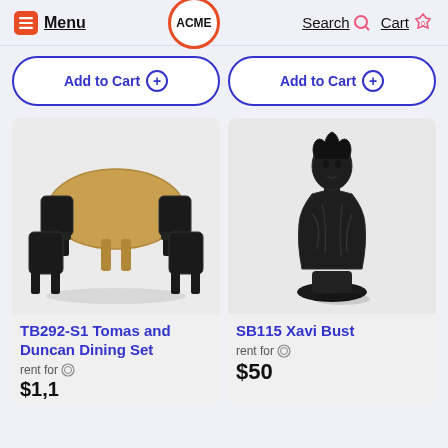Menu | ACME | Search | Cart 0
Add to Cart ⊕   Add to Cart ⊕
[Figure (photo): Round wooden dining table with four black leather chairs (TB292-S1 Tomas and Duncan Dining Set)]
[Figure (photo): Dark bronze classical bust sculpture of a figure (SB115 Xavi Bust)]
TB292-S1 Tomas and Duncan Dining Set
rent for
$1,1...
SB115 Xavi Bust
rent for
$50